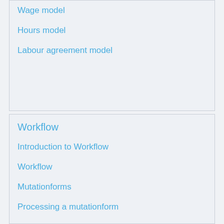Wage model
Hours model
Labour agreement model
Workflow
Introduction to Workflow
Workflow
Mutationforms
Processing a mutationform